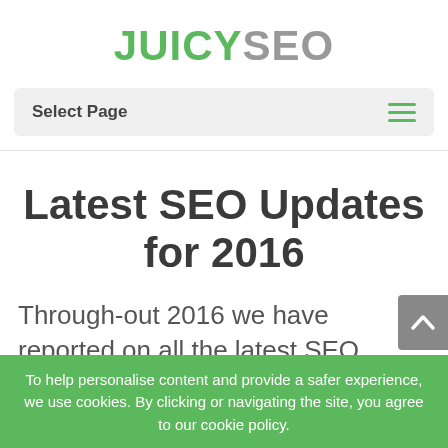JUICY SEO
Select Page
Latest SEO Updates for 2016
Through-out 2016 we have reported on all the latest SEO
To help personalise content and provide a safer experience, we use cookies. By clicking or navigating the site, you agree to our cookie policy.